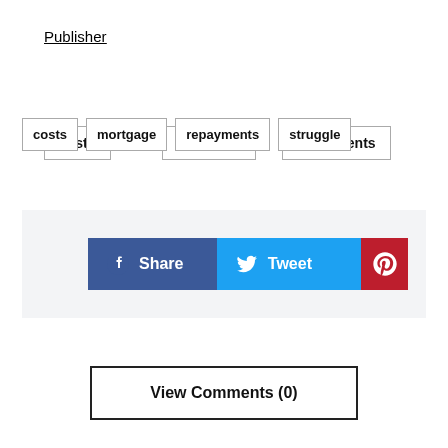Publisher
costs
mortgage
repayments
struggle
[Figure (other): Social share buttons: Facebook Share, Twitter Tweet, Pinterest]
View Comments (0)